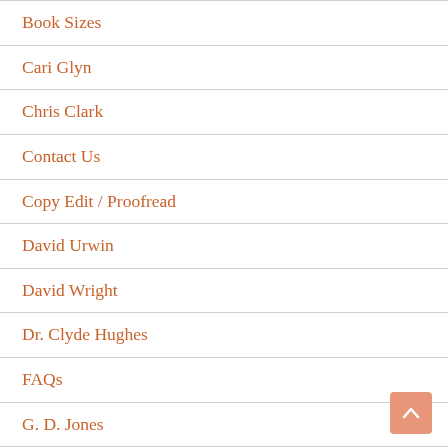Book Sizes
Cari Glyn
Chris Clark
Contact Us
Copy Edit / Proofread
David Urwin
David Wright
Dr. Clyde Hughes
FAQs
G. D. Jones
Gillian Brightmore
Harry Calvert
Home – Self Publishing